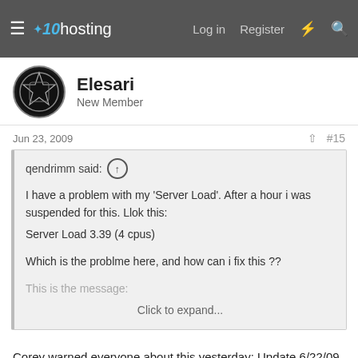x10hosting — Log in  Register
Elesari
New Member
Jun 23, 2009   #15
qendrimm said: ↑

I have a problem with my 'Server Load'. After a hour i was suspended for this. Llok this:
Server Load 3.39 (4 cpus)

Which is the problme here, and how can i fix this ??

This is the message:
Click to expand...
Corey warned everyone about this yesterday: Update 6/22/09
There are other things beside Cron jobs that use huge amounts